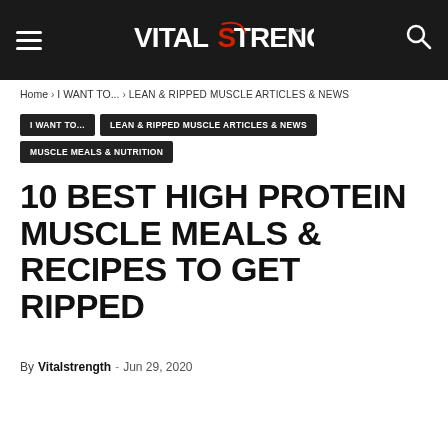VITAL STRENGTH (logo navigation bar with hamburger menu and search icon)
Home › I WANT TO... › LEAN & RIPPED MUSCLE ARTICLES & NEWS
I WANT TO...
LEAN & RIPPED MUSCLE ARTICLES & NEWS
MUSCLE MEALS & NUTRITION
10 BEST HIGH PROTEIN MUSCLE MEALS & RECIPES TO GET RIPPED
By Vitalstrength - Jun 29, 2020